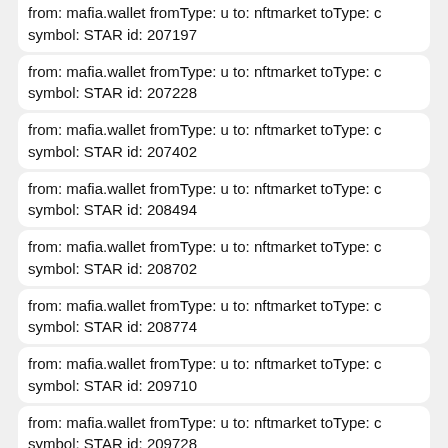from: mafia.wallet fromType: u to: nftmarket toType: c symbol: STAR id: 207197
from: mafia.wallet fromType: u to: nftmarket toType: c symbol: STAR id: 207228
from: mafia.wallet fromType: u to: nftmarket toType: c symbol: STAR id: 207402
from: mafia.wallet fromType: u to: nftmarket toType: c symbol: STAR id: 208494
from: mafia.wallet fromType: u to: nftmarket toType: c symbol: STAR id: 208702
from: mafia.wallet fromType: u to: nftmarket toType: c symbol: STAR id: 208774
from: mafia.wallet fromType: u to: nftmarket toType: c symbol: STAR id: 209710
from: mafia.wallet fromType: u to: nftmarket toType: c symbol: STAR id: 209728
from: mafia.wallet fromType: u to: nftmarket toType: c symbol: STAR id: 209764
from: mafia.wallet fromType: u to: nftmarket toType: c symbol: STAR id: 209853
from: mafia.wallet fromType: u to: nftmarket toType: c symbol: STAR id: 209856
from: mafia.wallet fromType: u to: nftmarket toType: c symbol: STAR id: 211250
from: mafia.wallet fromType: u to: nftmarket toType: c symbol: STAR id: ...